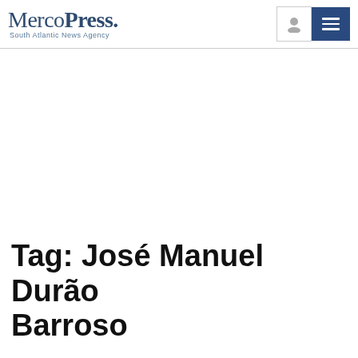MercoPress. South Atlantic News Agency
Tag: José Manuel Durão Barroso